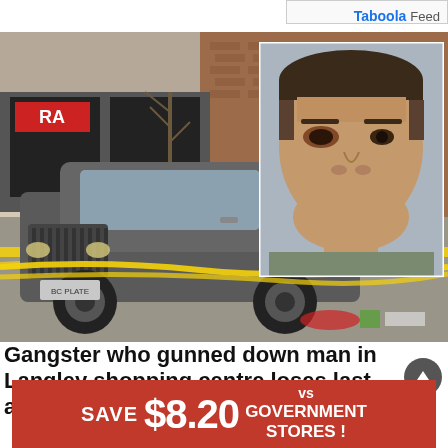Taboola Feed
[Figure (photo): Crime scene photo showing a grey/dark pickup truck (Lincoln) surrounded by yellow police tape in a shopping centre parking lot, with items on the ground. An inset mug shot shows a man with dark hair and a bruised eye.]
Gangster who gunned down man in Langley shopping centre loses last appeal
[Figure (infographic): Red advertisement banner reading SAVE $8.20 vs GOVERNMENT STORES!]